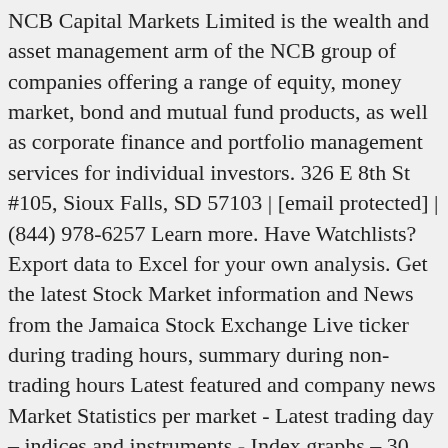NCB Capital Markets Limited is the wealth and asset management arm of the NCB group of companies offering a range of equity, money market, bond and mutual fund products, as well as corporate finance and portfolio management services for individual investors. 326 E 8th St #105, Sioux Falls, SD 57103 | [email protected] | (844) 978-6257 Learn more. Have Watchlists? Export data to Excel for your own analysis. Get the latest Stock Market information and News from the Jamaica Stock Exchange Live ticker during trading hours, summary during non-trading hours Latest featured and company news Market Statistics per market - Latest trading day – indices and instruments - Index graphs – 30 days, 90 days, 365 days - Price graphs – 30 days, 90 days, 365 days This represents a $0.41 dividend on an annualized basis and a dividend yield of 2.67%. NCB Capital Markets Ltd. is the wealth and asset management arm of Jamaica's National Commercial Bank and offers investment options and advice for